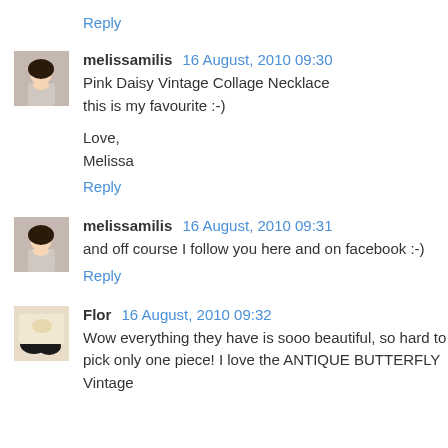Reply
melissamilis 16 August, 2010 09:30
Pink Daisy Vintage Collage Necklace
this is my favourite :-)

Love,
Melissa
Reply
melissamilis 16 August, 2010 09:31
and off course I follow you here and on facebook :-)
Reply
Flor 16 August, 2010 09:32
Wow everything they have is sooo beautiful, so hard to pick only one piece! I love the ANTIQUE BUTTERFLY Vintage